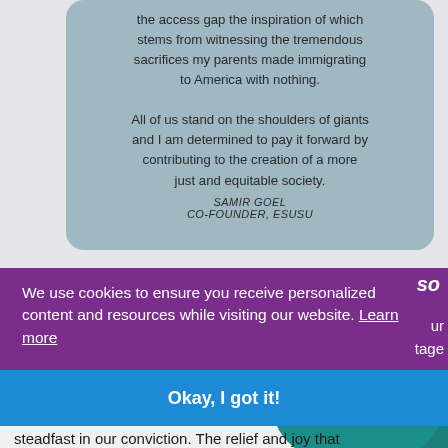[Figure (illustration): Screenshot of a website showing a quote card with light blue-gray rounded rectangle containing text from Samir Goel, Co-Founder of Esusu, with teal decorative quotation mark graphic in lower right. Below is a purple cookie consent banner overlay with 'We use cookies to ensure you receive personalized content and resources while visiting our website. Learn more' and a blue 'Okay, I got it!' button.]
the access gap the inspiration of which stems from witnessing the tremendous sacrifices my parents made immigrating to America with nothing.

All of us stand on the shoulders of giants and I am determined to pay it forward by contributing to the creation of a more just and equitable society.
SAMIR GOEL
CO-FOUNDER, ESUSU
We use cookies to ensure you receive personalized content and resources while visiting our website. Learn more
Okay, I got it!
steadfast in our conviction. The relief and joy that